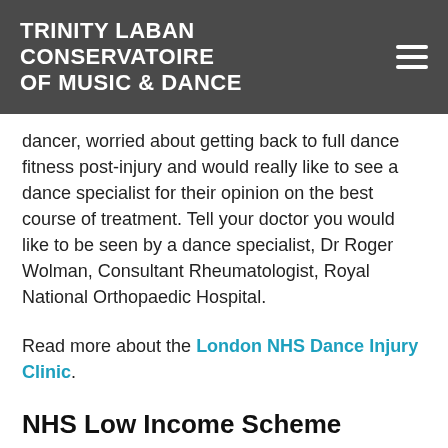TRINITY LABAN CONSERVATOIRE OF MUSIC & DANCE
dancer, worried about getting back to full dance fitness post-injury and would really like to see a dance specialist for their opinion on the best course of treatment. Tell your doctor you would like to be seen by a dance specialist, Dr Roger Wolman, Consultant Rheumatologist, Royal National Orthopaedic Hospital.
Read more about the London NHS Dance Injury Clinic.
NHS Low Income Scheme